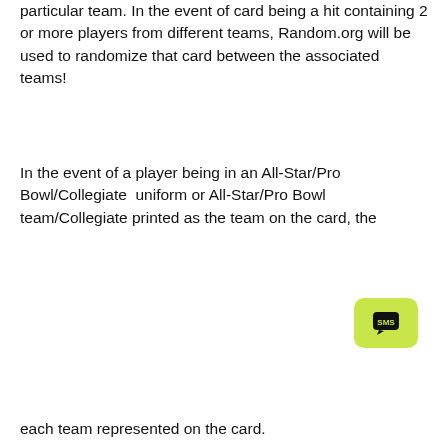particular team. In the event of card being a hit containing 2 or more players from different teams, Random.org will be used to randomize that card between the associated teams!
In the event of a player being in an All-Star/Pro Bowl/Collegiate  uniform or All-Star/Pro Bowl team/Collegiate printed as the team on the card, the
[Figure (screenshot): Modal overlay with 'Unlock exclusive rewards and perks' message, Sign up or Log in prompt, a Sign Up button, and an already have an account? Sign In link. An SMS chat button in lime green is visible in the bottom right.]
each team represented on the card.